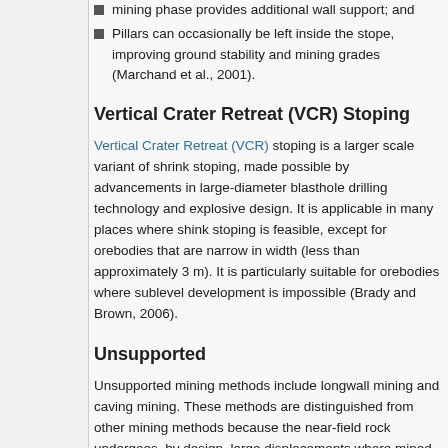mining phase provides additional wall support; and
Pillars can occasionally be left inside the stope, improving ground stability and mining grades (Marchand et al., 2001).
Vertical Crater Retreat (VCR) Stoping
Vertical Crater Retreat (VCR) stoping is a larger scale variant of shrink stoping, made possible by advancements in large-diameter blasthole drilling technology and explosive design. It is applicable in many places where shink stoping is feasible, except for orebodies that are narrow in width (less than approximately 3 m). It is particularly suitable for orebodies where sublevel development is impossible (Brady and Brown, 2006).
Unsupported
Unsupported mining methods include longwall mining and caving mining. These methods are distinguished from other mining methods because the near-field rock undergoes, by design, large displacements where mined voids